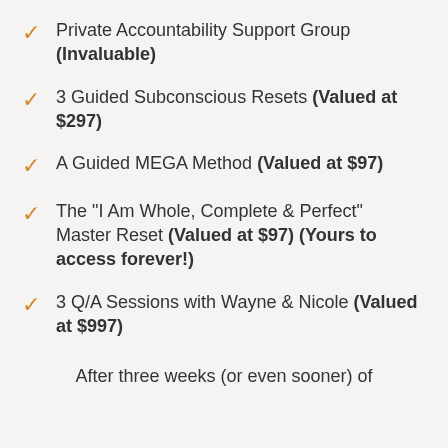Private Accountability Support Group (Invaluable)
3 Guided Subconscious Resets (Valued at $297)
A Guided MEGA Method (Valued at $97)
The "I Am Whole, Complete & Perfect" Master Reset (Valued at $97) (Yours to access forever!)
3 Q/A Sessions with Wayne & Nicole (Valued at $997)
After three weeks (or even sooner) of